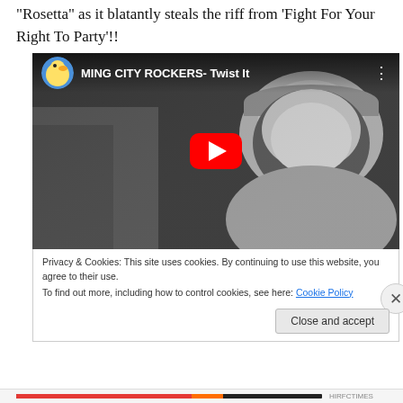“Rosetta” as it blatantly steals the riff from ‘Fight For Your Right To Party’!!
[Figure (screenshot): Embedded YouTube video thumbnail showing MING CITY ROCKERS - Twist It, with a black and white image of a woman in a hat, and a red play button in the center.]
Privacy & Cookies: This site uses cookies. By continuing to use this website, you agree to their use.
To find out more, including how to control cookies, see here: Cookie Policy